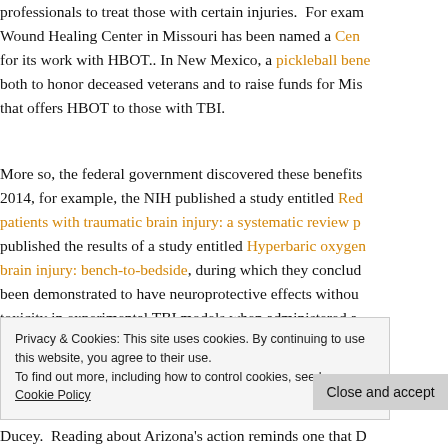professionals to treat those with certain injuries. For example, the Wound Healing Center in Missouri has been named a Center of Excellence for its work with HBOT.. In New Mexico, a pickleball benefit was held both to honor deceased veterans and to raise funds for Mission Healing that offers HBOT to those with TBI.
More so, the federal government discovered these benefits long ago. In 2014, for example, the NIH published a study entitled Reducing harm to patients with traumatic brain injury: a systematic review published the results of a study entitled Hyperbaric oxygen treatment of traumatic brain injury: bench-to-bedside, during which they concluded HBOT has been demonstrated to have neuroprotective effects without significant toxicity in experimental TBI models when administered at 1.5 ATA [atmospheric pressure]."
Privacy & Cookies: This site uses cookies. By continuing to use this website, you agree to their use. To find out more, including how to control cookies, see here: Cookie Policy
Close and accept
Ducey. "Reading about Arizona's action reminds one that D